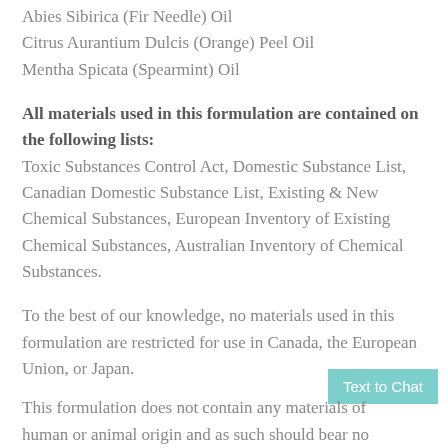Abies Sibirica (Fir Needle) Oil
Citrus Aurantium Dulcis (Orange) Peel Oil
Mentha Spicata (Spearmint) Oil
All materials used in this formulation are contained on the following lists: Toxic Substances Control Act, Domestic Substance List, Canadian Domestic Substance List, Existing & New Chemical Substances, European Inventory of Existing Chemical Substances, Australian Inventory of Chemical Substances.
To the best of our knowledge, no materials used in this formulation are restricted for use in Canada, the European Union, or Japan.
This formulation does not contain any materials of human or animal origin and as such should bear no...